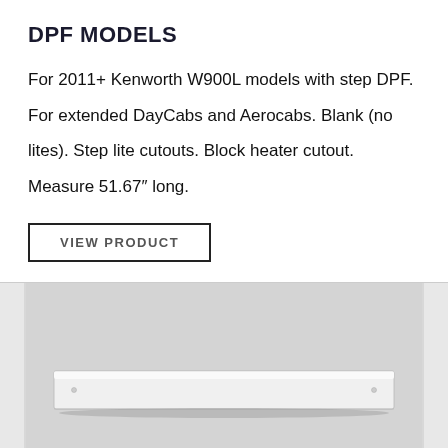DPF MODELS
For 2011+ Kenworth W900L models with step DPF. For extended DayCabs and Aerocabs. Blank (no lites). Step lite cutouts. Block heater cutout. Measure 51.67″ long.
VIEW PRODUCT
[Figure (photo): Product photo of a long white aluminum panel/fairing bar shown from a slight angle against a light gray background.]